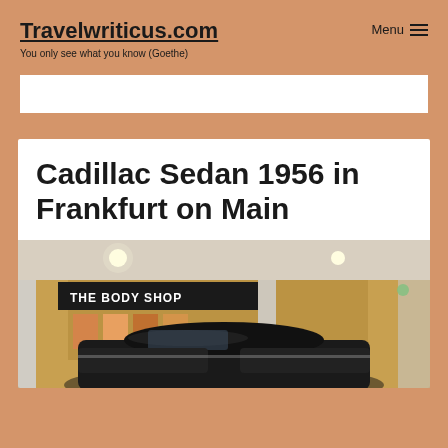Travelwriticus.com
You only see what you know (Goethe)
Menu ☰
Cadillac Sedan 1956 in Frankfurt on Main
[Figure (photo): A vintage Cadillac Sedan 1956 parked inside what appears to be a shopping mall, with The Body Shop store visible in the background. The car is dark colored and the mall interior shows columns and warm lighting.]